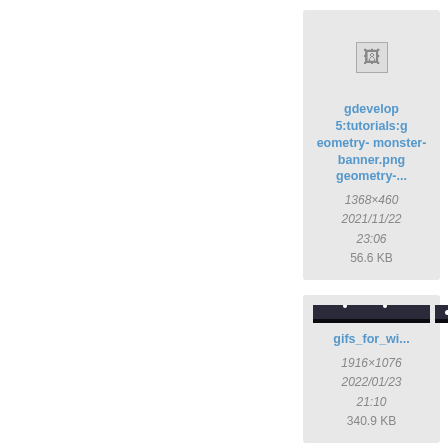[Figure (screenshot): File thumbnail card for geometry-monster-banner.png showing a small broken image icon, filename link 'gdevelop5:tutorials:geometry-monster-banner.png geometry-...', dimensions 1368×460, date 2021/11/22 23:06, size 56.6 KB]
[Figure (screenshot): Partially visible file thumbnail card for another geometry file, showing partial text 'geome...' and date 2021/ 23, size 2.3...]
[Figure (screenshot): File thumbnail card for gifs_for_wi... showing a dark screenshot thumbnail of a game editor, dimensions 1916×1076, date 2022/01/23 21:10, size 340.9 KB]
[Figure (screenshot): Partially visible file thumbnail card for gifs_fo... showing a dark screenshot with white dots, dimensions 1916×..., date 2022/ 20..., size 641...]